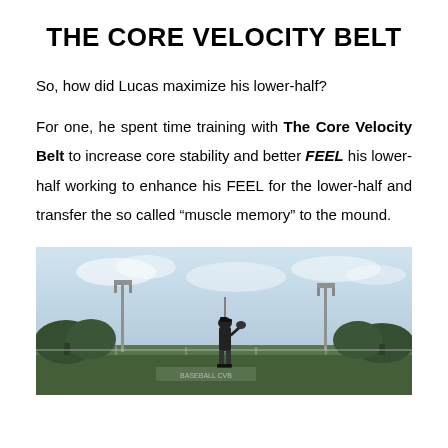THE CORE VELOCITY BELT
So, how did Lucas maximize his lower-half?
For one, he spent time training with The Core Velocity Belt to increase core stability and better FEEL his lower-half working to enhance his FEEL for the lower-half and transfer the so called “muscle memory” to the mound.
[Figure (photo): Outdoor baseball/softball field with a player silhouette standing on the mound, light poles, trees, and a cloudy sky in the background.]